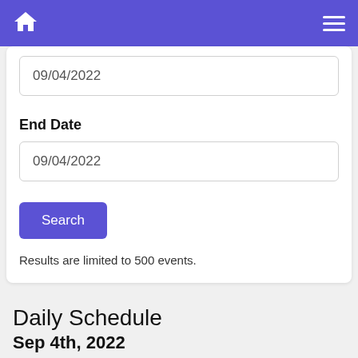Home / Menu navigation bar
09/04/2022
End Date
09/04/2022
Search
Results are limited to 500 events.
Daily Schedule
Sep 4th, 2022